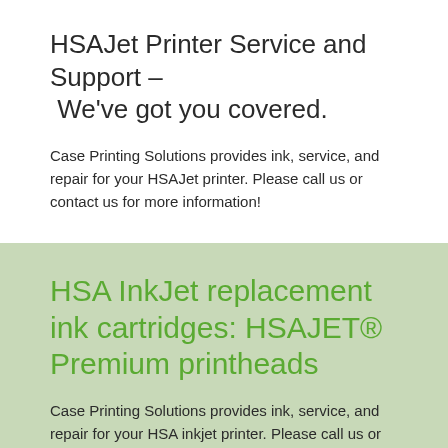HSAJet Printer Service and  Support – We've got you covered.
Case Printing Solutions provides ink, service, and repair for your HSAJet printer. Please call us or contact us for more information!
HSA InkJet replacement ink cartridges: HSAJET® Premium printheads
Case Printing Solutions provides ink, service, and repair for your HSA inkjet printer. Please call us or contact us for more information!